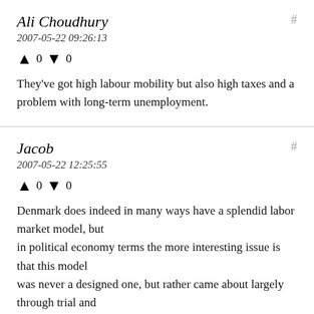Ali Choudhury
2007-05-22 09:26:13
↑ 0 ↓ 0
They've got high labour mobility but also high taxes and a problem with long-term unemployment.
Jacob
2007-05-22 12:25:55
↑ 0 ↓ 0
Denmark does indeed in many ways have a splendid labor market model, but in political economy terms the more interesting issue is that this model was never a designed one, but rather came about largely through trial and error - irrespective of what Danish politicians/academics would